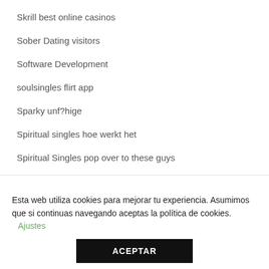Skrill best online casinos
Sober Dating visitors
Software Development
soulsingles flirt app
Sparky unf?hige
Spiritual singles hoe werkt het
Spiritual Singles pop over to these guys
Esta web utiliza cookies para mejorar tu experiencia. Asumimos que si continuas navegando aceptas la política de cookies. Ajustes
ACEPTAR